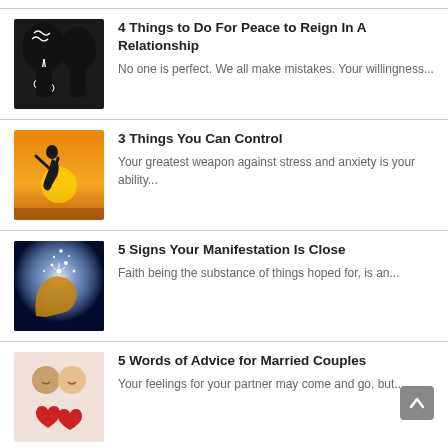[Figure (illustration): Silhouette of two heads facing each other with floral/brain design — black and white illustration for relationship article]
4 Things to Do For Peace to Reign In A Relationship
No one is perfect. We all make mistakes. Your willingness...
[Figure (photo): Silhouette of a person kneeling/praying against a sunset sky — orange/golden background]
3 Things You Can Control
Your greatest weapon against stress and anxiety is your ability...
[Figure (photo): A hand holding sparkling glowing lights against a dark blue background — manifestation concept]
5 Signs Your Manifestation Is Close
Faith being the substance of things hoped for, is an...
[Figure (photo): Couple holding red heart shapes — marriage/love concept photo]
5 Words of Advice for Married Couples
Your feelings for your partner may come and go, but...
[Figure (photo): Partially visible thumbnail for another article at bottom]